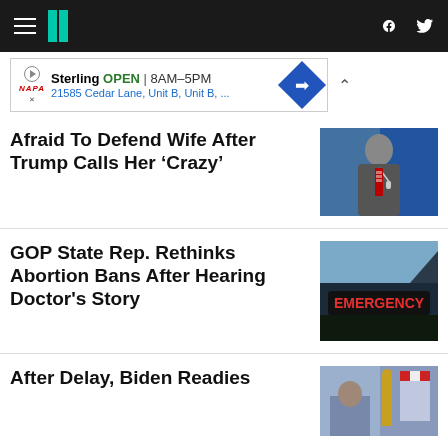HuffPost navigation bar with hamburger menu, logo, Facebook and Twitter icons
[Figure (infographic): Advertisement banner: Napa Auto Parts - Sterling, OPEN 8AM-5PM, 21585 Cedar Lane, Unit B, Unit B, ...]
Afraid To Defend Wife After Trump Calls Her ‘Crazy’
[Figure (photo): Photo of a man in a suit at a podium with a microphone, blue background with partial text visible]
GOP State Rep. Rethinks Abortion Bans After Hearing Doctor's Story
[Figure (photo): Photo of an Emergency room sign lit in red on a dark building at dusk]
After Delay, Biden Readies